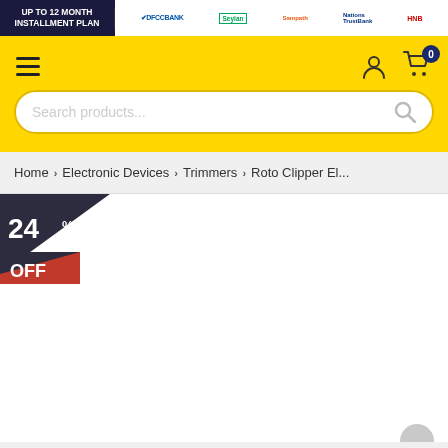[Figure (screenshot): E-commerce website header banner showing UP TO 12 MONTH INSTALLMENT PLAN with bank logos: DFCC Bank, Seylan Bank, Sampath Bank, Nations Trust Bank, HNB]
[Figure (screenshot): Yellow navigation header with hamburger menu, user icon, cart icon (0 items), and search bar with placeholder 'Search products...']
Home > Electronic Devices > Trimmers > Roto Clipper El...
[Figure (infographic): Discount badge: 24% OFF in dark/red triangular shape]